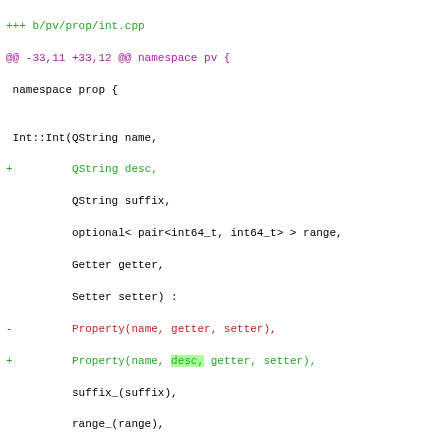+++ b/pv/prop/int.cpp
@@ -33,11 +33,12 @@ namespace pv {
 namespace prop {

 Int::Int(QString name,
+        QString desc,
         QString suffix,
         optional< pair<int64_t, int64_t> > range,
         Getter getter,
         Setter setter) :
-        Property(name, getter, setter),
+        Property(name, desc, getter, setter),
         suffix_(suffix),
         range_(range),
         spin_box_(nullptr)
diff --git a/pv/prop/int.hpp b/pv/prop/int.hpp
index
fabd801324d7941c2fa7171d97f941c6cc0abb13..709e02e635eda56ee1
100644 (file)
--- a/pv/prop/int.hpp
+++ b/pv/prop/int.hpp
@@ -38,7 +38,7 @@ class Int : public Property
         Q_OBJECT;

 public:
-        Int(QString name, QString suffix,
+        Int(QString name, QString desc, QString suffix,
                 boost::optional< pair<int64_t, int64_t> > ra
                 Getter getter, Setter setter);